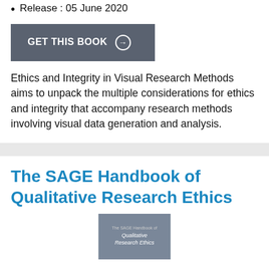Release : 05 June 2020
[Figure (other): GET THIS BOOK button with arrow icon]
Ethics and Integrity in Visual Research Methods aims to unpack the multiple considerations for ethics and integrity that accompany research methods involving visual data generation and analysis.
The SAGE Handbook of Qualitative Research Ethics
[Figure (illustration): Book cover thumbnail for The SAGE Handbook of Qualitative Research Ethics showing grey cover with title text]